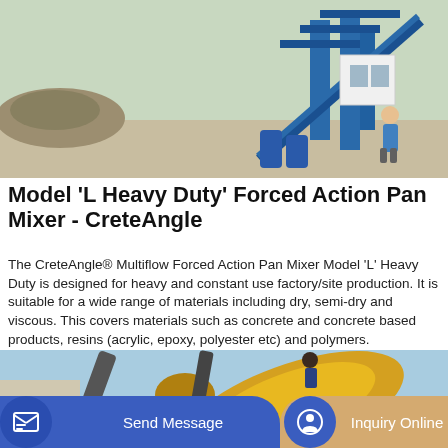[Figure (photo): Industrial concrete mixing plant with blue metal structure, a worker in blue uniform, storage containers, and gravel pile in background]
Model 'L Heavy Duty' Forced Action Pan Mixer - CreteAngle
The CreteAngle® Multiflow Forced Action Pan Mixer Model 'L' Heavy Duty is designed for heavy and constant use factory/site production. It is suitable for a wide range of materials including dry, semi-dry and viscous. This covers materials such as concrete and concrete based products, resins (acrylic, epoxy, polyester etc) and polymers.
[Figure (photo): Yellow concrete mixer drum mounted on construction equipment with blue sky background]